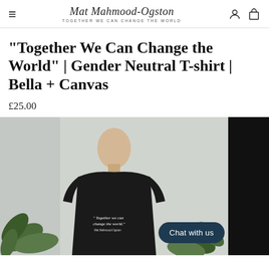Mat Mahmood-Ogston — TOGETHER WE CAN CHANGE THE WORLD
"Together We Can Change the World" | Gender Neutral T-shirt | Bella + Canvas
£25.00
[Figure (photo): Man wearing a black gender-neutral t-shirt printed with 'Together we can change the world.' quote, standing in front of a plant. A second image shows the black t-shirt on a dark background. A 'Chat with us' button overlays the image.]